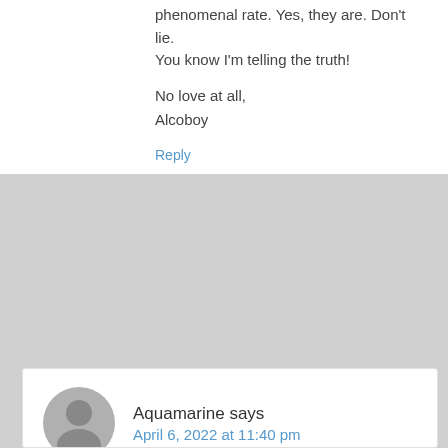phenomenal rate. Yes, they are. Don't lie. You know I'm telling the truth!
No love at all,
Alcoboy
Reply
Aquamarine says
April 6, 2022 at 11:40 pm
Alcoboy, what would I do without you? What would I do without my personal Prince Valiant? For merely making a few innocent and truthful observations on this blog I get regularly and virulently attacked by maniacal David Miscavige. But I'm not scared because always, always, when I